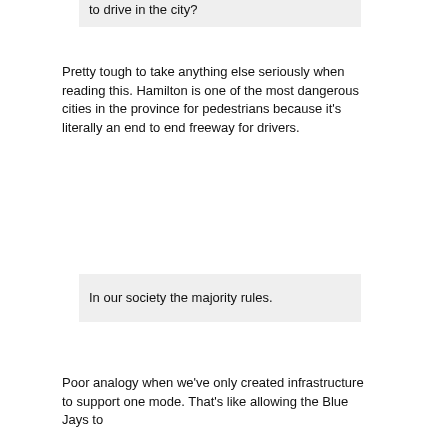to drive in the city?
Pretty tough to take anything else seriously when reading this. Hamilton is one of the most dangerous cities in the province for pedestrians because it's literally an end to end freeway for drivers.
In our society the majority rules.
Poor analogy when we've only created infrastructure to support one mode. That's like allowing the Blue Jays to